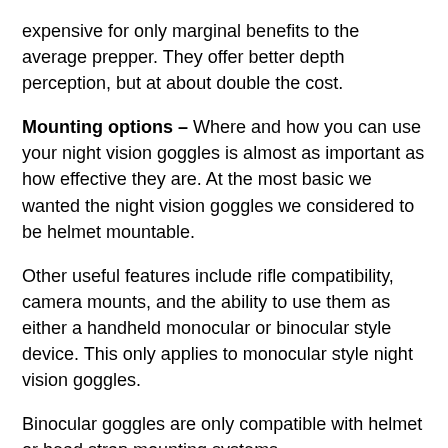expensive for only marginal benefits to the average prepper. They offer better depth perception, but at about double the cost.
Mounting options – Where and how you can use your night vision goggles is almost as important as how effective they are. At the most basic we wanted the night vision goggles we considered to be helmet mountable.
Other useful features include rifle compatibility, camera mounts, and the ability to use them as either a handheld monocular or binocular style device. This only applies to monocular style night vision goggles.
Binocular goggles are only compatible with helmet or head strap mounting systems.
Affordability – We're not going to try and sugar coat it: Night vision goggles are expensive. Even the most basic